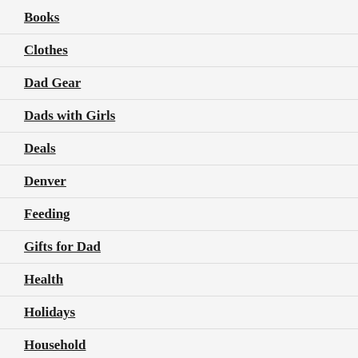Books
Clothes
Dad Gear
Dads with Girls
Deals
Denver
Feeding
Gifts for Dad
Health
Holidays
Household
In Denver